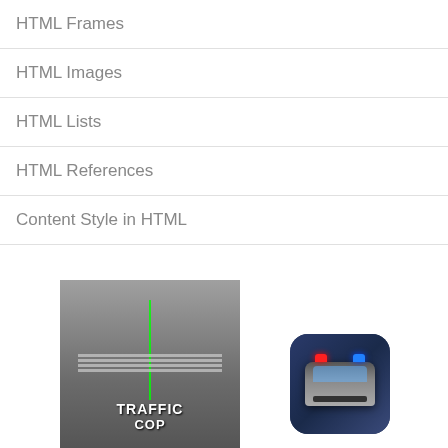HTML Frames
HTML Images
HTML Lists
HTML References
Content Style in HTML
[Figure (photo): Traffic Cop mobile game screenshot showing a road with crosswalk and 'TRAFFIC COP' text]
[Figure (photo): Police car game app icon with red and blue police lights on dark blue rounded square background]